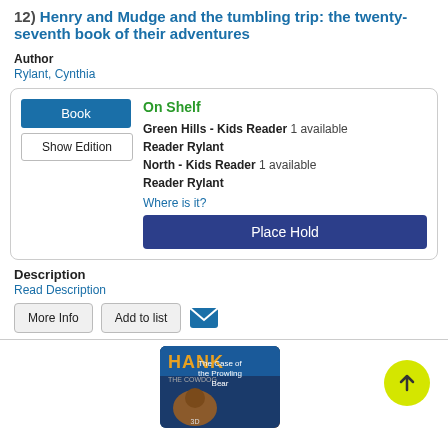12) Henry and Mudge and the tumbling trip: the twenty-seventh book of their adventures
Author
Rylant, Cynthia
Book | Show Edition | On Shelf | Green Hills - Kids Reader 1 available | Reader Rylant | North - Kids Reader 1 available | Reader Rylant | Where is it? | Place Hold
Description
Read Description
More Info | Add to list
[Figure (screenshot): Book cover thumbnail for Hank the Cowdog: The Case of the Prowling Bear]